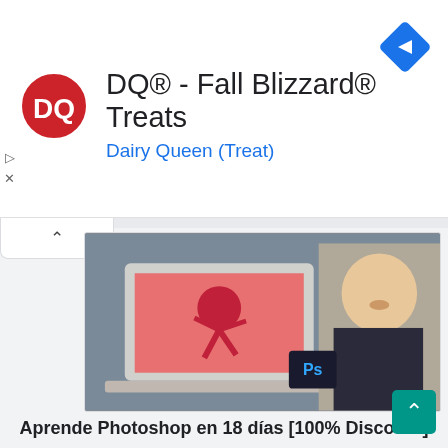[Figure (infographic): DQ Dairy Queen advertisement banner with DQ logo (red oval with white letters), navigation arrow icon (blue diamond with right arrow), play and close controls]
DQ® - Fall Blizzard® Treats
Dairy Queen (Treat)
[Figure (photo): Woman smiling next to a laptop showing a pink figure in Photoshop, with Adobe Photoshop logo visible]
Aprende Photoshop en 18 días [100% Discount]
[Figure (illustration): Blockchain/web development course thumbnail showing code bracket icon, BC Lottery logo, Ethereum logo, React logo, and hard hat icon on light background]
[Free] Blockchain: Build a Dapp using Solidity, Hardhat and React
[Figure (screenshot): Partially visible dark screenshot, third course thumbnail at bottom of page]